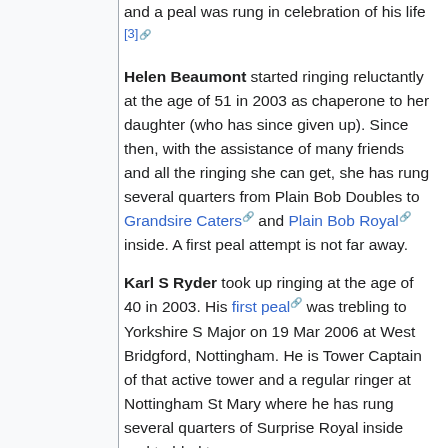and a peal was rung in celebration of his life [3]
Helen Beaumont started ringing reluctantly at the age of 51 in 2003 as chaperone to her daughter (who has since given up). Since then, with the assistance of many friends and all the ringing she can get, she has rung several quarters from Plain Bob Doubles to Grandsire Caters and Plain Bob Royal inside. A first peal attempt is not far away.
Karl S Ryder took up ringing at the age of 40 in 2003. His first peal was trebling to Yorkshire S Major on 19 Mar 2006 at West Bridgford, Nottingham. He is Tower Captain of that active tower and a regular ringer at Nottingham St Mary where he has rung several quarters of Surprise Royal inside and trebled to